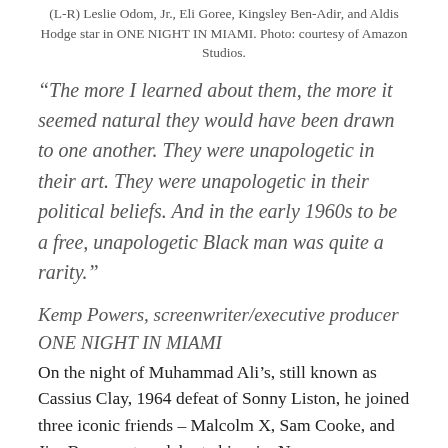(L-R) Leslie Odom, Jr., Eli Goree, Kingsley Ben-Adir, and Aldis Hodge star in ONE NIGHT IN MIAMI. Photo: courtesy of Amazon Studios.
“The more I learned about them, the more it seemed natural they would have been drawn to one another. They were unapologetic in their art. They were unapologetic in their political beliefs. And in the early 1960s to be a free, unapologetic Black man was quite a rarity.”
Kemp Powers, screenwriter/executive producer ONE NIGHT IN MIAMI
On the night of Muhammad Ali’s, still known as Cassius Clay, 1964 defeat of Sonny Liston, he joined three iconic friends – Malcolm X, Sam Cooke, and Jim Brown – to celebrate his win. No